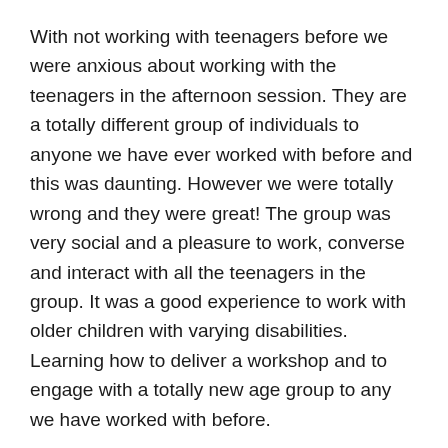With not working with teenagers before we were anxious about working with the teenagers in the afternoon session. They are a totally different group of individuals to anyone we have ever worked with before and this was daunting. However we were totally wrong and they were great! The group was very social and a pleasure to work, converse and interact with all the teenagers in the group. It was a good experience to work with older children with varying disabilities. Learning how to deliver a workshop and to engage with a totally new age group to any we have worked with before.
Reflection for the week
So far we haven't seen much if any active reflection or evaluation within the workshops themselves. There is no